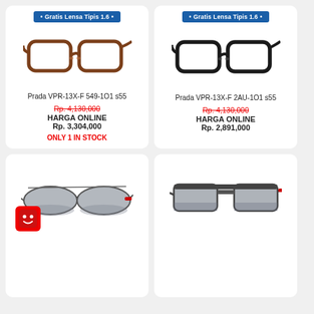[Figure (photo): Prada brown eyeglasses VPR-13X-F 549-1O1 s55]
Prada VPR-13X-F 549-1O1 s55
Rp. 4,130,000 (strikethrough)
HARGA ONLINE
Rp. 3,304,000
ONLY 1 IN STOCK
[Figure (photo): Prada dark/tortoise eyeglasses VPR-13X-F 2AU-1O1 s55]
Prada VPR-13X-F 2AU-1O1 s55
Rp. 4,130,000 (strikethrough)
HARGA ONLINE
Rp. 2,891,000
[Figure (photo): Prada sport sunglasses, grey lenses, thin metal frame, red accent]
[Figure (photo): Prada sport sunglasses, grey gradient lenses, square metal frame, red rubber temple tips]